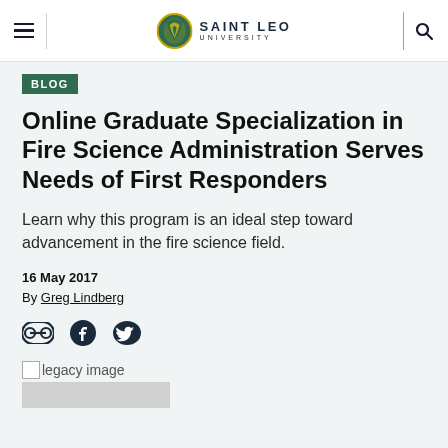Saint Leo University — Navigation bar with hamburger menu and search icon
BLOG
Online Graduate Specialization in Fire Science Administration Serves Needs of First Responders
Learn why this program is an ideal step toward advancement in the fire science field.
16 May 2017
By Greg Lindberg
[Figure (other): Social sharing icons: link/chain icon, Facebook icon, Twitter icon]
[Figure (photo): Legacy image placeholder with gray block below]